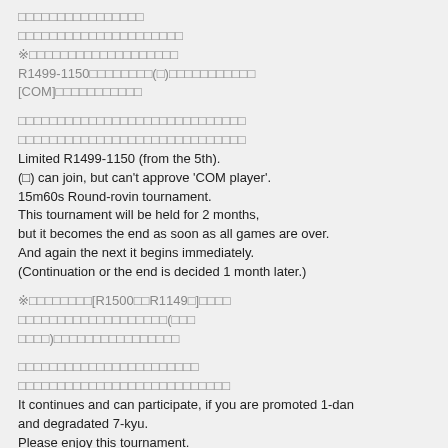[Japanese text] R1499-1150 [Japanese text](□)[Japanese text] [COM][Japanese text]
[Japanese text] Limited R1499-1150 (from the 5th). (□) can join, but can't approve 'COM player'. 15m60s Round-rovin tournament. This tournament will be held for 2 months, but it becomes the end as soon as all games are over. And again the next it begins immediately. (Continuation or the end is decided 1 month later.)
※[Japanese text][R1500□□R1149□][Japanese text](□□ □□□)[Japanese text]
[Japanese text] It continues and can participate, if you are promoted 1-dan and degradated 7-kyu. Please enjoy this tournament.
※[Japanese text] [In case of an accelerated class]